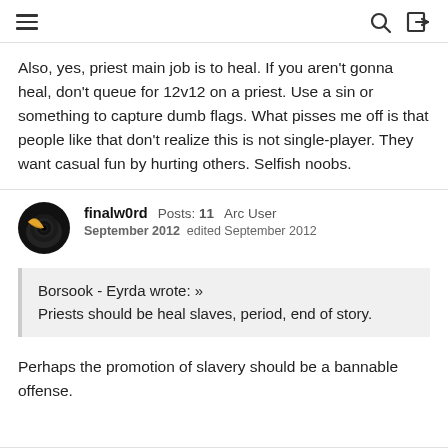Also, yes, priest main job is to heal. If you aren't gonna heal, don't queue for 12v12 on a priest. Use a sin or something to capture dumb flags. What pisses me off is that people like that don't realize this is not single-player. They want casual fun by hurting others. Selfish noobs.
finalw0rd  Posts: 11  Arc User
September 2012  edited September 2012
Borsook - Eyrda wrote: »
Priests should be heal slaves, period, end of story.
Perhaps the promotion of slavery should be a bannable offense.